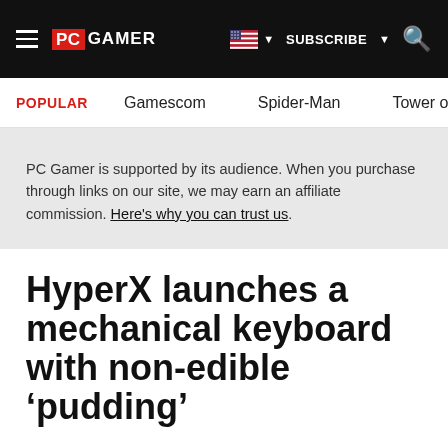PC GAMER | SUBSCRIBE
POPULAR   Gamescom   Spider-Man   Tower o...
PC Gamer is supported by its audience. When you purchase through links on our site, we may earn an affiliate commission. Here's why you can trust us.
HyperX launches a mechanical keyboard with non-edible ‘pudding’